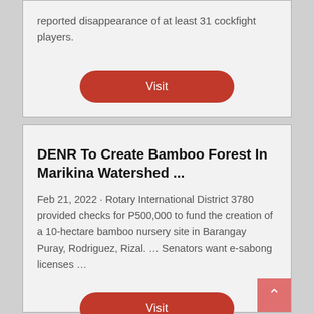reported disappearance of at least 31 cockfight players.
Visit
DENR To Create Bamboo Forest In Marikina Watershed ...
Feb 21, 2022 · Rotary International District 3780 provided checks for P500,000 to fund the creation of a 10-hectare bamboo nursery site in Barangay Puray, Rodriguez, Rizal. ... Senators want e-sabong licenses ...
Visit